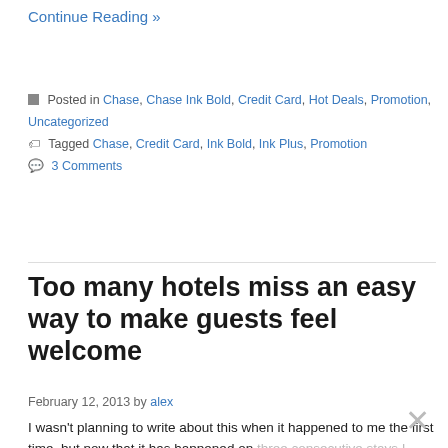Continue Reading »
■ Posted in Chase, Chase Ink Bold, Credit Card, Hot Deals, Promotion, Uncategorized
🏷 Tagged Chase, Credit Card, Ink Bold, Ink Plus, Promotion
💬 3 Comments
Too many hotels miss an easy way to make guests feel welcome
February 12, 2013 by alex
I wasn't planning to write about this when it happened to me the first time, but now that it has happened on three consecutive stays I think it's time to speak my peace. First impressions are meaningful in just about